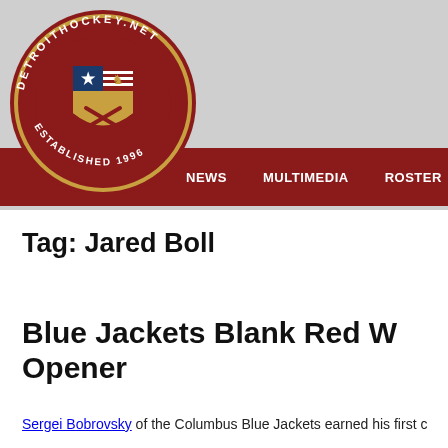[Figure (logo): DetroitHockey.net circular logo with shield crest, established 1996]
NEWS   MULTIMEDIA   ROSTER
Tag: Jared Boll
Blue Jackets Blank Red W... Opener
Sergei Bobrovsky of the Columbus Blue Jackets earned his first c...